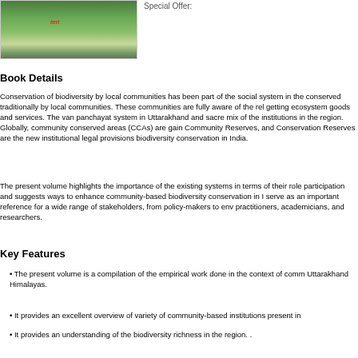[Figure (photo): Photograph of a green meadow/forest landscape with red italic label 'teri' overlaid]
Special Offer:
Book Details
Conservation of biodiversity by local communities has been part of the social system in the conserved traditionally by local communities. These communities are fully aware of the rel getting ecosystem goods and services. The van panchayat system in Uttarakhand and sacre mix of the institutions in the region. Globally, community conserved areas (CCAs) are gain Community Reserves, and Conservation Reserves are the new institutional legal provisions biodiversity conservation in India.
The present volume highlights the importance of the existing systems in terms of their role participation and suggests ways to enhance community-based biodiversity conservation in I serve as an important reference for a wide range of stakeholders, from policy-makers to env practitioners, academicians, and researchers.
Key Features
• The present volume is a compilation of the empirical work done in the context of comm Uttarakhand Himalayas.
• It provides an excellent overview of variety of community-based institutions present in
• It provides an understanding of the biodiversity richness in the region. .